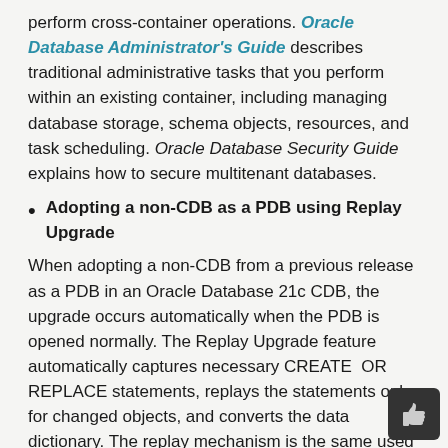perform cross-container operations. Oracle Database Administrator's Guide describes traditional administrative tasks that you perform within an existing container, including managing database storage, schema objects, resources, and task scheduling. Oracle Database Security Guide explains how to secure multitenant databases.
Adopting a non-CDB as a PDB using Replay Upgrade
When adopting a non-CDB from a previous release as a PDB in an Oracle Database 21c CDB, the upgrade occurs automatically when the PDB is opened normally. The Replay Upgrade feature automatically captures necessary CREATE OR REPLACE statements, replays the statements only for changed objects, and converts the data dictionary. The replay mechanism is the same used in application synchronization.